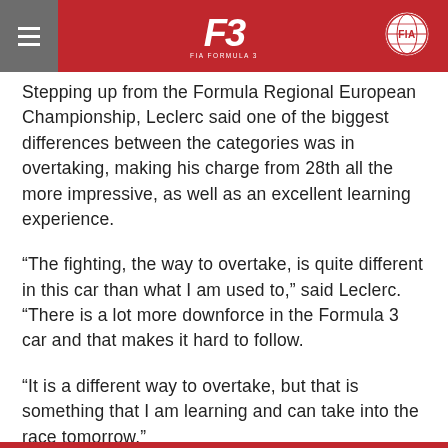[Figure (logo): FIA Formula 3 Championship header bar with F3 logo in center, hamburger menu icon on left grey strip, and FIA circular badge on right]
Stepping up from the Formula Regional European Championship, Leclerc said one of the biggest differences between the categories was in overtaking, making his charge from 28th all the more impressive, as well as an excellent learning experience.
“The fighting, the way to overtake, is quite different in this car than what I am used to,” said Leclerc. “There is a lot more downforce in the Formula 3 car and that makes it hard to follow.
“It is a different way to overtake, but that is something that I am learning and can take into the race tomorrow.”